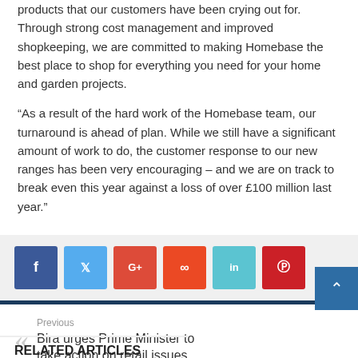products that our customers have been crying out for. Through strong cost management and improved shopkeeping, we are committed to making Homebase the best place to shop for everything you need for your home and garden projects.
“As a result of the hard work of the Homebase team, our turnaround is ahead of plan. While we still have a significant amount of work to do, the customer response to our new ranges has been very encouraging – and we are on track to break even this year against a loss of over £100 million last year.”
[Figure (other): Social sharing buttons: Facebook (blue), Twitter (light blue), Google+ (red), StumbleUpon (orange-red), LinkedIn (teal), Pinterest (red)]
Previous
Bira urges Prime Minister to take action on retail issues
Next
Sales of home baking products up 9% at Waitrose
RELATED ARTICLES